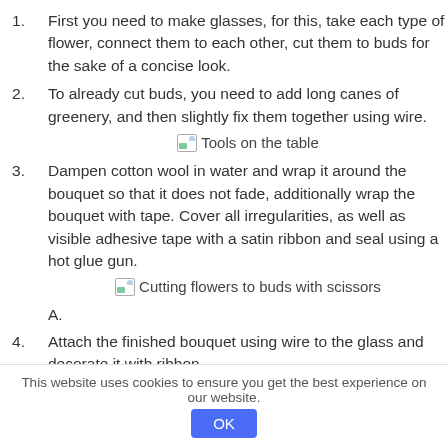First you need to make glasses, for this, take each type of flower, connect them to each other, cut them to buds for the sake of a concise look.
To already cut buds, you need to add long canes of greenery, and then slightly fix them together using wire.
[Figure (photo): Broken/missing image placeholder labeled 'Tools on the table']
Dampen cotton wool in water and wrap it around the bouquet so that it does not fade, additionally wrap the bouquet with tape. Cover all irregularities, as well as visible adhesive tape with a satin ribbon and seal using a hot glue gun.
[Figure (photo): Broken/missing image placeholder labeled 'Cutting flowers to buds with scissors']
A.
Attach the finished bouquet using wire to the glass and decorate it with ribbon.
This website uses cookies to ensure you get the best experience on our website.